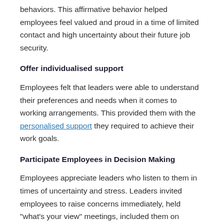behaviors. This affirmative behavior helped employees feel valued and proud in a time of limited contact and high uncertainty about their future job security.
Offer individualised support
Employees felt that leaders were able to understand their preferences and needs when it comes to working arrangements. This provided them with the personalised support they required to achieve their work goals.
Participate Employees in Decision Making
Employees appreciate leaders who listen to them in times of uncertainty and stress. Leaders invited employees to raise concerns immediately, held "what's your view" meetings, included them on discussions about the group's progress, and set up regular open forums where they could ask questions